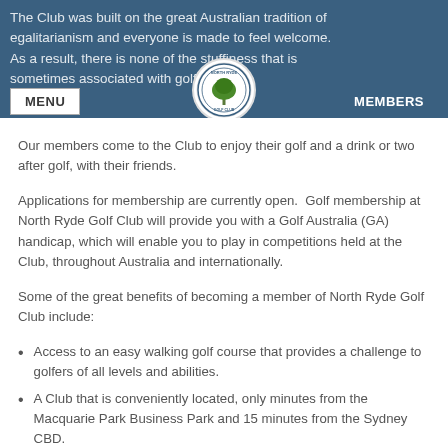The Club was built on the great Australian tradition of egalitarianism and everyone is made to feel welcome. As a result, there is none of the stuffiness that is sometimes associated with golf clubs.
Our members come to the Club to enjoy their golf and a drink or two after golf, with their friends.
Applications for membership are currently open.  Golf membership at North Ryde Golf Club will provide you with a Golf Australia (GA) handicap, which will enable you to play in competitions held at the Club, throughout Australia and internationally.
Some of the great benefits of becoming a member of North Ryde Golf Club include:
Access to an easy walking golf course that provides a challenge to golfers of all levels and abilities.
A Club that is conveniently located, only minutes from the Macquarie Park Business Park and 15 minutes from the Sydney CBD.
Golf competitions that are held on most days.